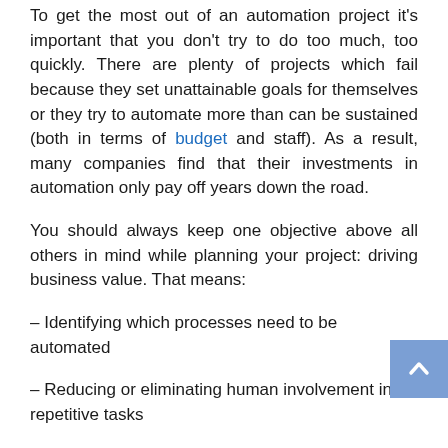To get the most out of an automation project it's important that you don't try to do too much, too quickly. There are plenty of projects which fail because they set unattainable goals for themselves or they try to automate more than can be sustained (both in terms of budget and staff). As a result, many companies find that their investments in automation only pay off years down the road.
You should always keep one objective above all others in mind while planning your project: driving business value. That means:
– Identifying which processes need to be automated
– Reducing or eliminating human involvement in repetitive tasks
– Improving production rates by reducing time delays that are inherent to people